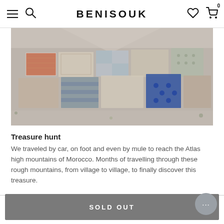BENISOUK
[Figure (photo): Aerial view of multiple Moroccan rugs laid out flat on dry rocky ground, showing various patterns and colors including red, blue, beige, and patterned textiles]
Treasure hunt
We traveled by car, on foot and even by mule to reach the Atlas high mountains of Morocco. Months of travelling through these rough mountains, from village to village, to finally discover this treasure.